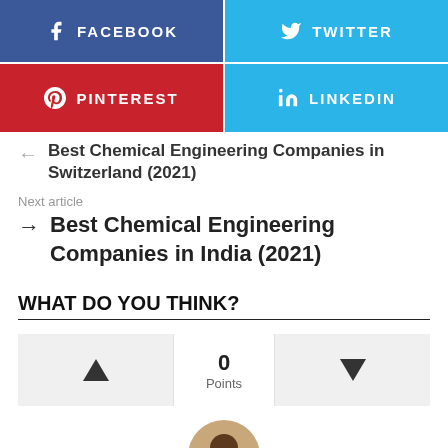[Figure (infographic): Social share buttons: Facebook (blue), Twitter (light blue), Pinterest (red), LinkedIn (light blue)]
Best Chemical Engineering Companies in Switzerland (2021)
Next article
Best Chemical Engineering Companies in India (2021)
WHAT DO YOU THINK?
[Figure (infographic): Vote widget with upvote triangle, 0 Points center, downvote triangle]
[Figure (photo): Avatar of a person with dark hair and glasses, partially visible at bottom]